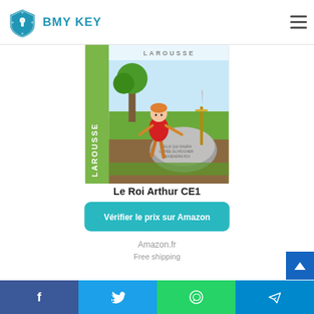BMY KEY
[Figure (illustration): Book cover of 'Le Roi Arthur CE1' published by Larousse, showing a cartoon boy in red running past a stone with a sword stuck in it, in a green outdoor setting. The word LAROUSSE is written vertically on the left spine.]
Le Roi Arthur CE1
Vérifier le prix sur Amazon
Amazon.fr
Free shipping
Social share bar: Facebook, Twitter, WhatsApp, Telegram